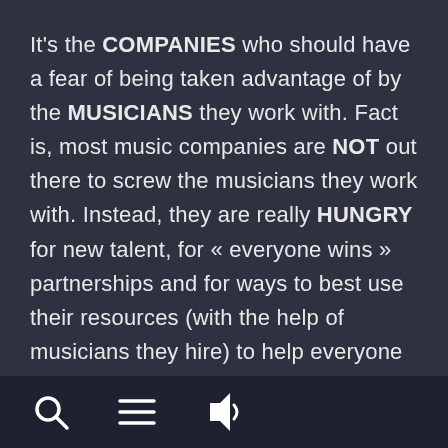It's the COMPANIES who should have a fear of being taken advantage of by the MUSICIANS they work with. Fact is, most music companies are NOT out there to screw the musicians they work with. Instead, they are really HUNGRY for new talent, for « everyone wins » partnerships and for ways to best use their resources (with the help of musicians they hire) to help everyone involved prosper.
At the same time, these companies are also
[Figure (other): Bottom navigation bar with three icons: magnifying glass (search), hamburger menu (three lines), and speaker/audio icon]